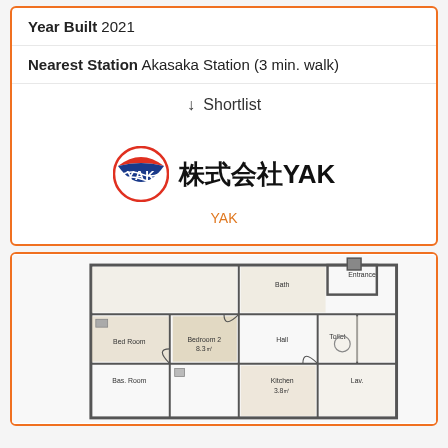Year Built 2021
Nearest Station Akasaka Station (3 min. walk)
↓ Shortlist
[Figure (logo): YAK company logo with circular emblem and Japanese text 株式会社YAK]
YAK
[Figure (engineering-diagram): Apartment floor plan showing multiple rooms including Bedroom 2, Kitchen, and other spaces with Japanese-style layout diagram]